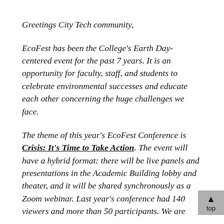Greetings City Tech community,
EcoFest has been the College's Earth Day-centered event for the past 7 years. It is an opportunity for faculty, staff, and students to celebrate environmental successes and educate each other concerning the huge challenges we face.
The theme of this year's EcoFest Conference is Crisis: It's Time to Take Action. The event will have a hybrid format: there will be live panels and presentations in the Academic Building lobby and theater, and it will be shared synchronously as a Zoom webinar. Last year's conference had 140 viewers and more than 50 participants. We are